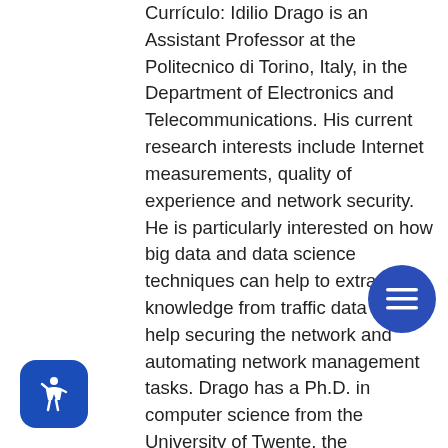Currículo: Idilio Drago is an Assistant Professor at the Politecnico di Torino, Italy, in the Department of Electronics and Telecommunications. His current research interests include Internet measurements, quality of experience and network security. He is particularly interested on how big data and data science techniques can help to extract knowledge from traffic data and help securing the network and automating network management tasks. Drago has a Ph.D. in computer science from the University of Twente, the Netherlands, and a Master degree from the Federal University of Espirito Santo, Brazil. He was awarded an Applied Networking Research Prize in 2013 by the IETF/IRTF for his work on cloud storage traffic analysis. He is now a member of the SmartData@PoliTO